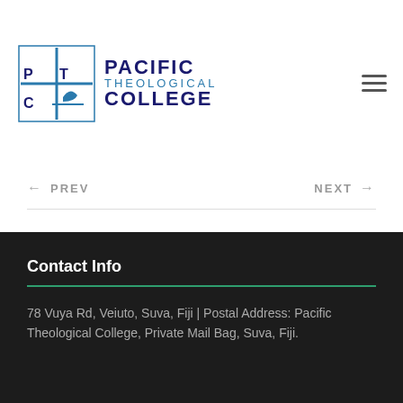[Figure (logo): Pacific Theological College logo with PTC cross emblem and college name]
← PREV
NEXT →
Contact Info
78 Vuya Rd, Veiuto, Suva, Fiji | Postal Address: Pacific Theological College, Private Mail Bag, Suva, Fiji.